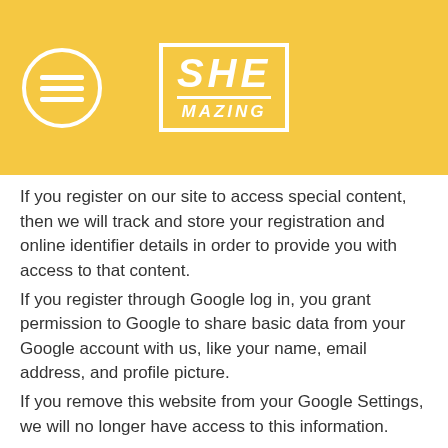[Figure (logo): SHEmazing logo with yellow background, circular menu icon on the left, and SHE MAZING text in white bordered box in center]
If you register on our site to access special content, then we will track and store your registration and online identifier details in order to provide you with access to that content. If you register through Google log in, you grant permission to Google to share basic data from your Google account with us, like your name, email address, and profile picture. If you remove this website from your Google Settings, we will no longer have access to this information. If you register through Facebook, you grant permission to Facebook to share your user details with us. This will include your name, email address, date of birth and location. You can also use your picture from Facebook as part of your profile. If you remove this website from your Facebook Settings, we will no longer have access to this information.
If you take part in any competitions we store your contact details with your consent in order to deliver the competition